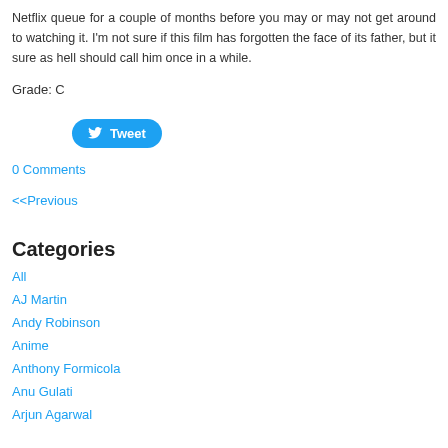Netflix queue for a couple of months before you may or may not get around to watching it. I'm not sure if this film has forgotten the face of its father, but it sure as hell should call him once in a while.
Grade: C
[Figure (other): Tweet button with Twitter bird icon]
0 Comments
<<Previous
Categories
All
AJ Martin
Andy Robinson
Anime
Anthony Formicola
Anu Gulati
Arjun Agarwal